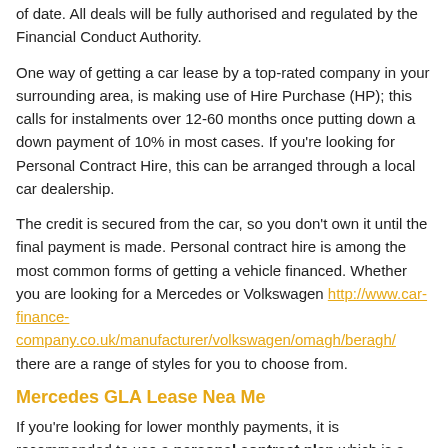of date. All deals will be fully authorised and regulated by the Financial Conduct Authority.
One way of getting a car lease by a top-rated company in your surrounding area, is making use of Hire Purchase (HP); this calls for instalments over 12-60 months once putting down a down payment of 10% in most cases. If you're looking for Personal Contract Hire, this can be arranged through a local car dealership.
The credit is secured from the car, so you don't own it until the final payment is made. Personal contract hire is among the most common forms of getting a vehicle financed. Whether you are looking for a Mercedes or Volkswagen http://www.car-finance-company.co.uk/manufacturer/volkswagen/omagh/beragh/ there are a range of styles for you to choose from.
Mercedes GLA Lease Nea Me
If you're looking for lower monthly payments, it is recommended to use a personal contract plan which is a type of financial offer on HP. Instead of paying for the Mercedes outright, you agree to pay the difference between its selling price and cost for resale back to the dealer. This is known as a condition of your deal, within...